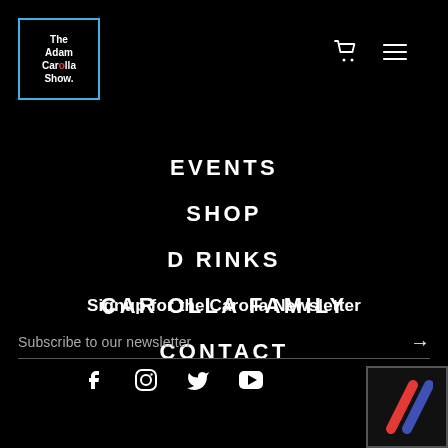[Figure (logo): The Adam Carolla Show logo in a blue-bordered box]
[Figure (infographic): Shopping cart and hamburger menu icons in top right]
EVENTS
SHOP
DRINKS
CAROLLA FAMILY
CONTACT
Signup for the Carolla Newsletter
Subscribe to our newsletter
[Figure (infographic): Social media icons: Facebook, Instagram, Twitter, YouTube]
[Figure (logo): PodcastOne logo with red and blue diagonal stripes in bottom right corner]